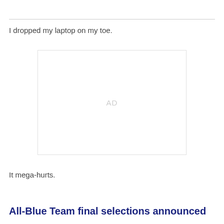I dropped my laptop on my toe.
[Figure (other): Advertisement placeholder box with 'AD' label in light gray]
It mega-hurts.
All-Blue Team final selections announced